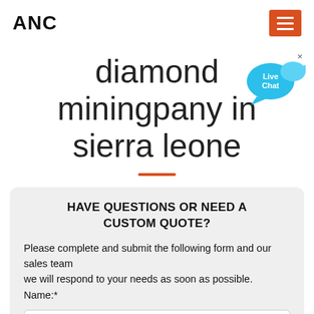ANC
diamond miningpany in sierra leone
[Figure (illustration): Live Chat speech bubble widget with blue bubble icon and x close button]
HAVE QUESTIONS OR NEED A CUSTOM QUOTE?
Please complete and submit the following form and our sales team
we will respond to your needs as soon as possible.
Name:*
Such as: Tom